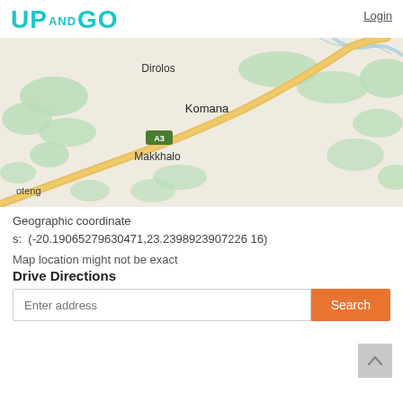[Figure (logo): UP AND GO logo in teal/cyan color]
Login
[Figure (map): Map showing geographic area with places Dirolos, Komana, Makkhalo, oteng, road A3, with beige background and green vegetation patches and a diagonal yellow road]
Geographic coordinates: (-20.19065279630471,23.2398923907226 16)
Map location might not be exact
Drive Directions
Enter address
Search